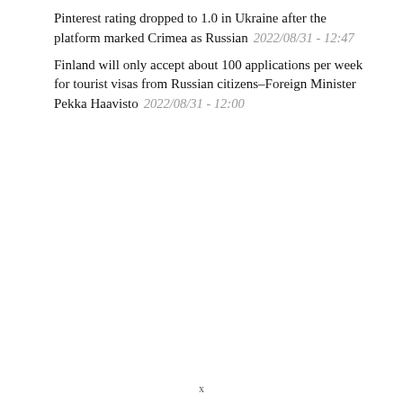Pinterest rating dropped to 1.0 in Ukraine after the platform marked Crimea as Russian  2022/08/31 - 12:47
Finland will only accept about 100 applications per week for tourist visas from Russian citizens–Foreign Minister Pekka Haavisto  2022/08/31 - 12:00
x